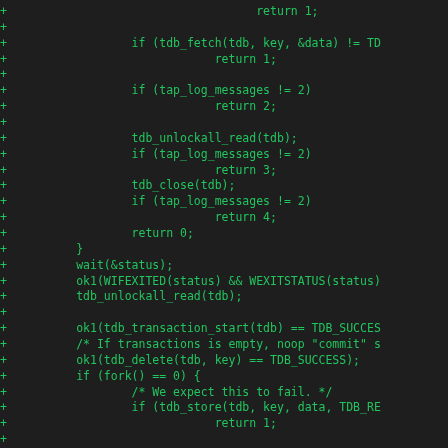[Figure (other): Code diff showing added lines (green '+' prefix) of C code involving tdb (trivial database) operations including tdb_fetch, tap_log_messages checks, tdb_unlockall_read, tdb_close, fork, wait, tdb_transaction_start, tdb_delete, tdb_store calls with return statements.]